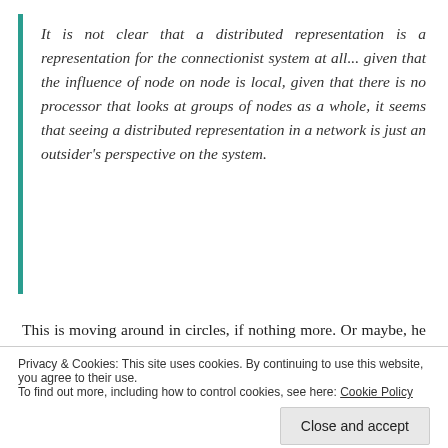It is not clear that a distributed representation is a representation for the connectionist system at all... given that the influence of node on node is local, given that there is no processor that looks at groups of nodes as a whole, it seems that seeing a distributed representation in a network is just an outsider's perspective on the system.
This is moving around in circles, if nothing more. Or maybe, he was anticipating what G. F. Marcus would write and echo to some extent in his book The Algebraic Mind. In the words of Marcus,
Privacy & Cookies: This site uses cookies. By continuing to use this website, you agree to their use. To find out more, including how to control cookies, see here: Cookie Policy
the contribution will be made by providing a way of...